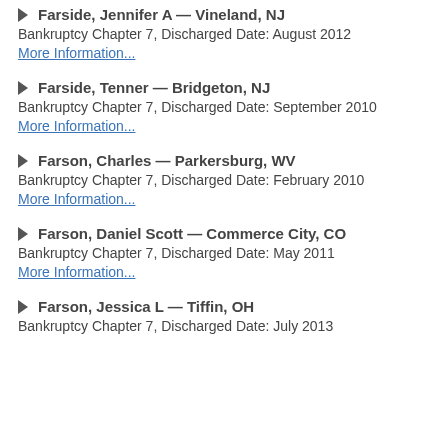Farside, Jennifer A — Vineland, NJ
Bankruptcy Chapter 7, Discharged Date: August 2012
More Information...
Farside, Tenner — Bridgeton, NJ
Bankruptcy Chapter 7, Discharged Date: September 2010
More Information...
Farson, Charles — Parkersburg, WV
Bankruptcy Chapter 7, Discharged Date: February 2010
More Information...
Farson, Daniel Scott — Commerce City, CO
Bankruptcy Chapter 7, Discharged Date: May 2011
More Information...
Farson, Jessica L — Tiffin, OH
Bankruptcy Chapter 7, Discharged Date: July 2013